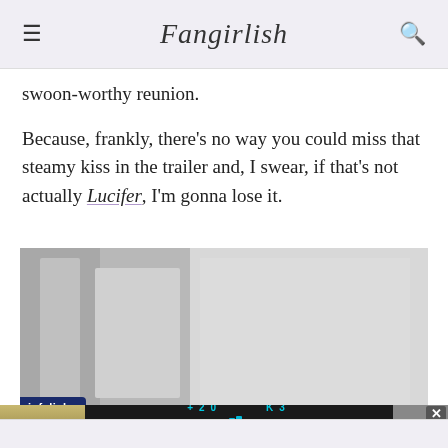Fangirlish
swoon-worthy reunion.
Because, frankly, there’s no way you could miss that steamy kiss in the trailer and, I swear, if that’s not actually Lucifer, I’m gonna lose it.
[Figure (photo): Blurred/obscured photograph, partially greyed out, with an infolinks advertisement badge in the lower left corner.]
[Figure (screenshot): Advertisement overlay showing 'Hold and Move' app with dark background, cyan numbers, and a close/help button area on the right with trees visible in background.]